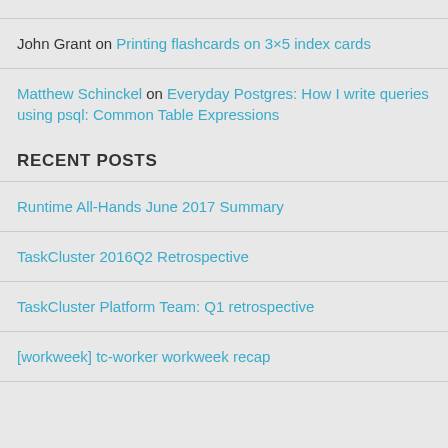John Grant on Printing flashcards on 3×5 index cards
Matthew Schinckel on Everyday Postgres: How I write queries using psql: Common Table Expressions
RECENT POSTS
Runtime All-Hands June 2017 Summary
TaskCluster 2016Q2 Retrospective
TaskCluster Platform Team: Q1 retrospective
[workweek] tc-worker workweek recap